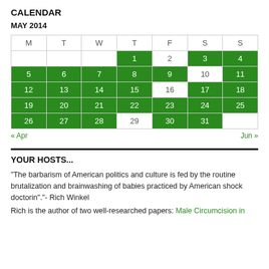CALENDAR
MAY 2014
| M | T | W | T | F | S | S |
| --- | --- | --- | --- | --- | --- | --- |
|  |  |  | 1 | 2 | 3 | 4 |
| 5 | 6 | 7 | 8 | 9 | 10 | 11 |
| 12 | 13 | 14 | 15 | 16 | 17 | 18 |
| 19 | 20 | 21 | 22 | 23 | 24 | 25 |
| 26 | 27 | 28 | 29 | 30 | 31 |  |
« Apr    Jun »
YOUR HOSTS...
"The barbarism of American politics and culture is fed by the routine brutalization and brainwashing of babies practiced by American shock doctorin"."- Rich Winkel
Rich is the author of two well-researched papers: Male Circumcision in